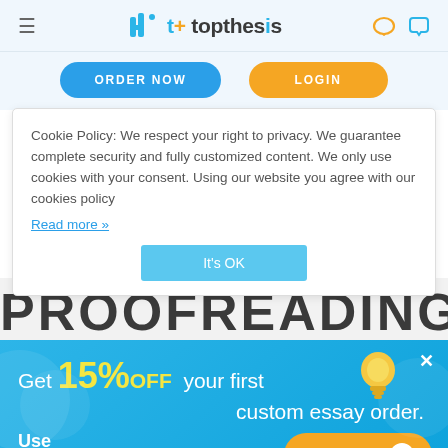topthesis
ORDER NOW
LOGIN
Cookie Policy: We respect your right to privacy. We guarantee complete security and fully customized content. We only use cookies with your consent. Using our website you agree with our cookies policy
Read more »
It's OK
PROOFREADING
Get 15% OFF your first custom essay order. Use promo-code top15 Order now